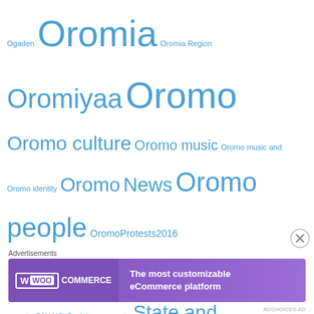Ogaden Oromia Oromia Region Oromiyaa Oromo Oromo culture Oromo music Oromo music and Oromo identity Oromo News Oromo people OromoProtests2016 Oromummaa poverty SAY NO Social movements State and Development State of emergency Sub-Saharan Africa The tyrannic Ethiopia The Tyranny of Ethiopia The tyranny of TPLF Ethiopia TPLF TPLF/EPRDF Ethiopian Regime is a Contra to a Developmental State Tyrannic Ethiopia Tyranny United Nations Universal Declaration of Human Rights UNPO Women and elders) are dying of genocidal mass killings and politically caused famine World Bank
Social
[Figure (screenshot): Advertisement banner for WooCommerce: 'The most customizable eCommerce platform']